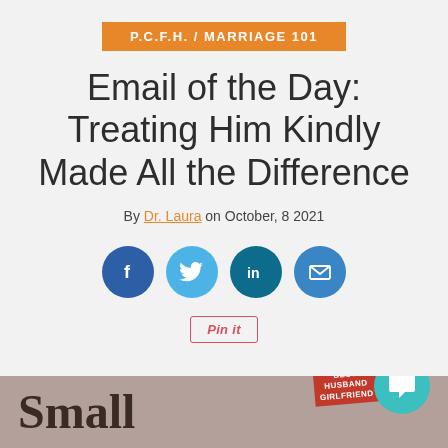P.C.F.H. / MARRIAGE 101
Email of the Day: Treating Him Kindly Made All the Difference
By Dr. Laura on October, 8 2021
[Figure (infographic): Social sharing icons: Facebook (dark blue circle with f), Twitter (light blue circle with bird), LinkedIn (teal circle with in), Email (blue circle with envelope)]
[Figure (infographic): Pin it button with Pinterest red border styling]
[Figure (infographic): Bottom banner showing word 'Small' in large serif font on brownish-rose background, with a Best Husband Girlfriend badge on the right, and a teal chat bubble icon overlay]